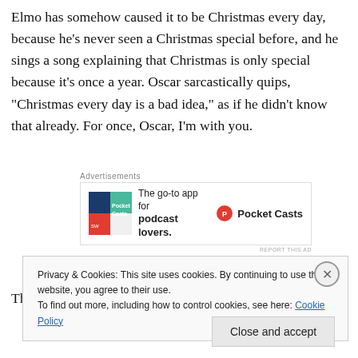Elmo has somehow caused it to be Christmas every day, because he's never seen a Christmas special before, and he sings a song explaining that Christmas is only special because it's once a year. Oscar sarcastically quips, "Christmas every day is a bad idea," as if he didn't know that already. For once, Oscar, I'm with you.
[Figure (other): Advertisement for Pocket Casts app: 'The go-to app for podcast lovers.' with Pocket Casts logo]
Then, to ensure that Sesame Workshop maintained its
Privacy & Cookies: This site uses cookies. By continuing to use this website, you agree to their use. To find out more, including how to control cookies, see here: Cookie Policy